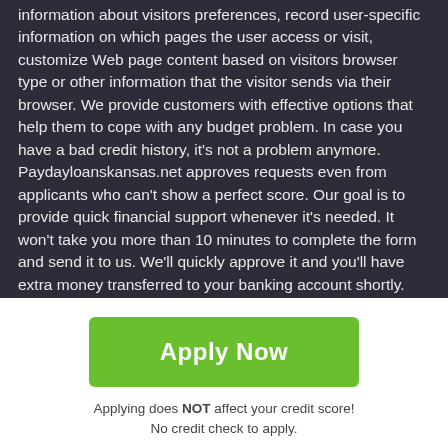information about visitors preferences, record user-specific information on which pages the user access or visit, customize Web page content based on visitors browser type or other information that the visitor sends via their browser. We provide customers with effective options that help them to cope with any budget problem. In case you have a bad credit history, it's not a problem anymore. Paydayloanskansas.net approves requests even from applicants who can't show a perfect score. Our goal is to provide quick financial support whenever it's needed. It won't take you more than 10 minutes to complete the form and send it to us. We'll quickly approve it and you'll have extra money transferred to your banking account shortly. Refill your budget within just one working day!
Customer Notice: A payday loan also called "cash advance loan" is a money sum that can be borrowed and kept until the upcoming
[Figure (other): Green 'Apply Now' button]
Applying does NOT affect your credit score!
No credit check to apply.